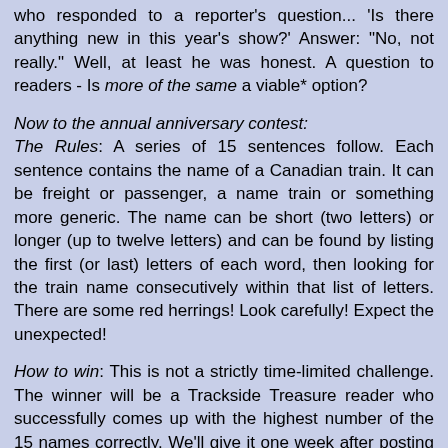who responded to a reporter's question... 'Is there anything new in this year's show?' Answer: "No, not really." Well, at least he was honest. A question to readers - Is more of the same a viable* option?
Now to the annual anniversary contest: The Rules: A series of 15 sentences follow. Each sentence contains the name of a Canadian train. It can be freight or passenger, a name train or something more generic. The name can be short (two letters) or longer (up to twelve letters) and can be found by listing the first (or last) letters of each word, then looking for the train name consecutively within that list of letters. There are some red herrings! Look carefully! Expect the unexpected!
How to win: This is not a strictly time-limited challenge. The winner will be a Trackside Treasure reader who successfully comes up with the highest number of the 15 names correctly. We'll give it one week after posting date - that should be plenty of time! Please submit them by their numbers, as an email to mile179kingstonATyahooDOTca. Of course, if you're the first to correctly guess all 15, you win the anniversary prize pack.